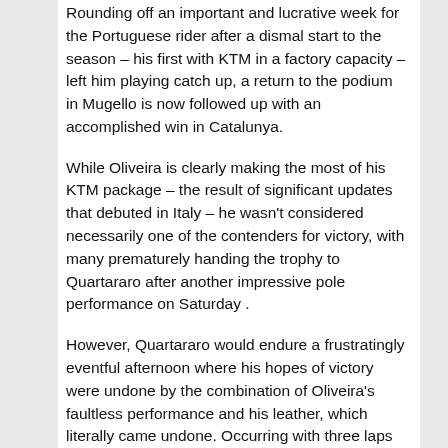Rounding off an important and lucrative week for the Portuguese rider after a dismal start to the season – his first with KTM in a factory capacity – left him playing catch up, a return to the podium in Mugello is now followed up with an accomplished win in Catalunya.
While Oliveira is clearly making the most of his KTM package – the result of significant updates that debuted in Italy – he wasn't considered necessarily one of the contenders for victory, with many prematurely handing the trophy to Quartararo after another impressive pole performance on Saturday .
However, Quartararo would endure a frustratingly eventful afternoon where his hopes of victory were undone by the combination of Oliveira's faultless performance and his leather, which literally came undone. Occurring with three laps to go while close to the rear of the KTM, Quartararo was forced to end the race with his leathers open having been forced to remove his chest protector to give him room to move.
Related Articles